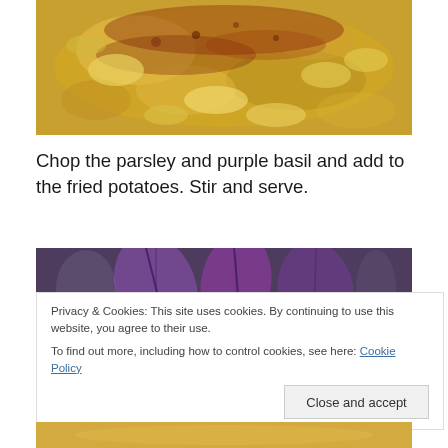[Figure (photo): Close-up photo of fried potato pieces with tomato sauce and spices on a glass dish]
Chop the parsley and purple basil and add to the fried potatoes. Stir and serve.
[Figure (photo): Photo of purple basil leaves in a glass bowl]
Privacy & Cookies: This site uses cookies. By continuing to use this website, you agree to their use.
To find out more, including how to control cookies, see here: Cookie Policy
[Figure (photo): Partial photo at bottom showing food with herbs]